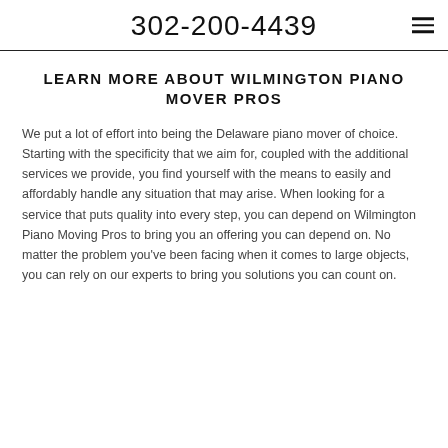302-200-4439
LEARN MORE ABOUT WILMINGTON PIANO MOVER PROS
We put a lot of effort into being the Delaware piano mover of choice. Starting with the specificity that we aim for, coupled with the additional services we provide, you find yourself with the means to easily and affordably handle any situation that may arise. When looking for a service that puts quality into every step, you can depend on Wilmington Piano Moving Pros to bring you an offering you can depend on. No matter the problem you've been facing when it comes to large objects, you can rely on our experts to bring you solutions you can count on.